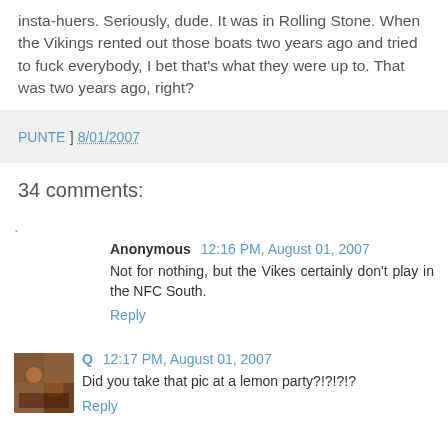insta-huers. Seriously, dude. It was in Rolling Stone. When the Vikings rented out those boats two years ago and tried to fuck everybody, I bet that's what they were up to. That was two years ago, right?
PUNTE ] 8/01/2007
34 comments:
Anonymous 12:16 PM, August 01, 2007
Not for nothing, but the Vikes certainly don't play in the NFC South.
Reply
Q 12:17 PM, August 01, 2007
Did you take that pic at a lemon party?!?!?!?
Reply